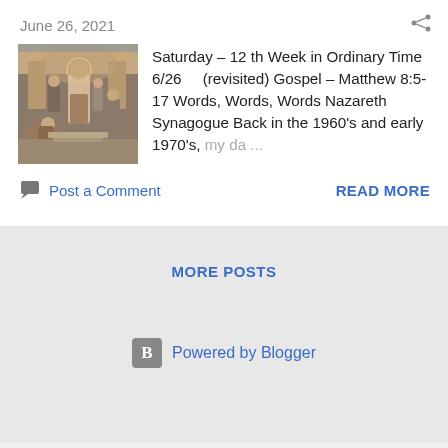June 26, 2021
[Figure (illustration): Religious painting depicting a biblical scene with figures in robes, likely Jesus healing or teaching, with architectural elements in background.]
Saturday – 12 th Week in Ordinary Time 6/26 (revisited) Gospel – Matthew 8:5-17 Words, Words, Words Nazareth Synagogue Back in the 1960's and early 1970's, my da ...
Post a Comment
READ MORE
MORE POSTS
Powered by Blogger